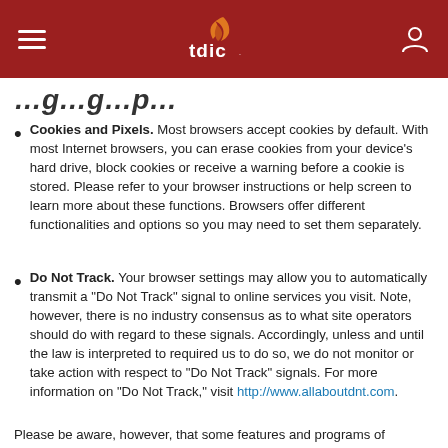tdic
…g…g…p…
Cookies and Pixels. Most browsers accept cookies by default. With most Internet browsers, you can erase cookies from your device's hard drive, block cookies or receive a warning before a cookie is stored. Please refer to your browser instructions or help screen to learn more about these functions. Browsers offer different functionalities and options so you may need to set them separately.
Do Not Track. Your browser settings may allow you to automatically transmit a "Do Not Track" signal to online services you visit. Note, however, there is no industry consensus as to what site operators should do with regard to these signals. Accordingly, unless and until the law is interpreted to required us to do so, we do not monitor or take action with respect to "Do Not Track" signals. For more information on "Do Not Track," visit http://www.allaboutdnt.com.
Please be aware, however, that some features and programs of